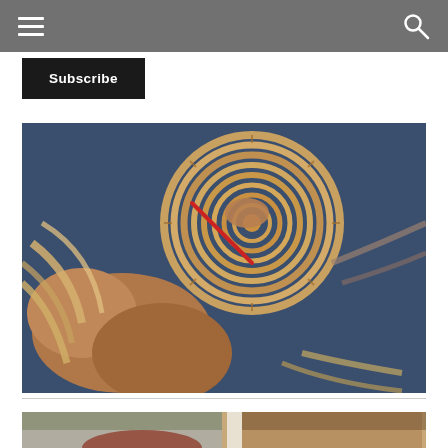Subscribe
[Figure (photo): Close-up photo of hands weaving a coiled basket/mat from natural fiber strands, with a red tool visible, against a background of blue jeans fabric.]
[Figure (photo): Partial view of a second photo showing a person near a window with trees visible outside.]